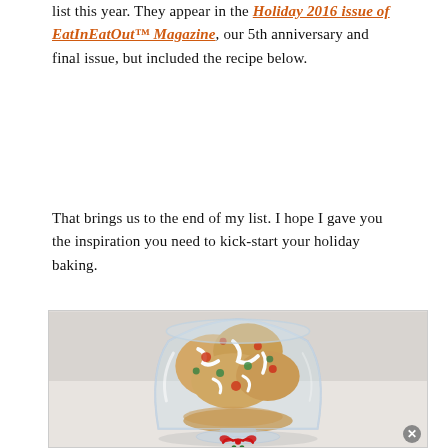list this year. They appear in the Holiday 2016 issue of EatInEatOut™ Magazine, our 5th anniversary and final issue, but included the recipe below.
That brings us to the end of my list. I hope I gave you the inspiration you need to kick-start your holiday baking.
[Figure (photo): A glass dessert bowl filled with frosted holiday cookies topped with red and green decorations, with a red ribbon bow at the base. Photo has a light background.]